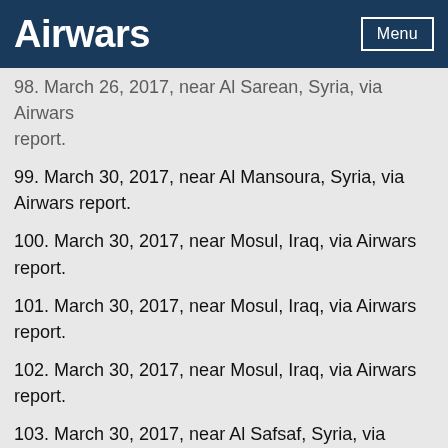Airwars
98. March 26, 2017, near Al Sarean, Syria, via Airwars report.
99. March 30, 2017, near Al Mansoura, Syria, via Airwars report.
100. March 30, 2017, near Mosul, Iraq, via Airwars report.
101. March 30, 2017, near Mosul, Iraq, via Airwars report.
102. March 30, 2017, near Mosul, Iraq, via Airwars report.
103. March 30, 2017, near Al Safsaf, Syria, via Airwars report.
104. March 30, 2017, near Al Huzaymah (Raqqah), Syria, via Airwars report.